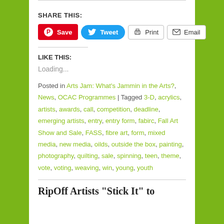SHARE THIS:
[Figure (screenshot): Social share buttons: Save (Pinterest, red), Tweet (Twitter, blue), Print, Email]
LIKE THIS:
Loading...
Posted in Arts Jam: What's Jammin in the Arts?, News, OCAC Programmes | Tagged 3-D, acrylics, artists, awards, call, competition, deadline, emerging artists, entry, entry form, fabirc, Fall Art Show and Sale, FASS, fibre art, form, mixed media, new media, oilds, outside the box, painting, photography, quilting, sale, spinning, teen, theme, vote, voting, weaving, win, young, youth
RipOff Artists "Stick It" to